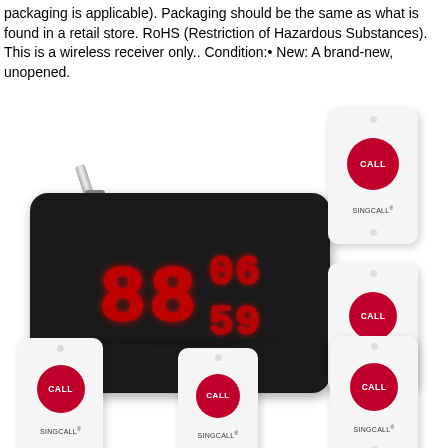packaging is applicable). Packaging should be the same as what is found in a retail store. RoHS (Restriction of Hazardous Substances). This is a wireless receiver only.. Condition:• New: A brand-new, unopened.
[Figure (photo): Product photo of a SINGCALL wireless calling system. Center-left: a black rectangular wireless receiver unit with antenna, displaying red LED digits '88' in large and '06' and '59' in smaller digits. To the right and bottom: five white SINGCALL call buttons, each with a red circular 'CALL' button and 'SINGCALL' label.]